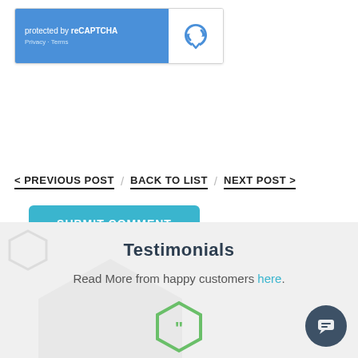[Figure (screenshot): reCAPTCHA widget with blue left panel showing 'protected by reCAPTCHA' text with Privacy and Terms links, and white right panel with reCAPTCHA logo icon]
SUBMIT COMMENT
< PREVIOUS POST / BACK TO LIST / NEXT POST >
Testimonials
Read More from happy customers here.